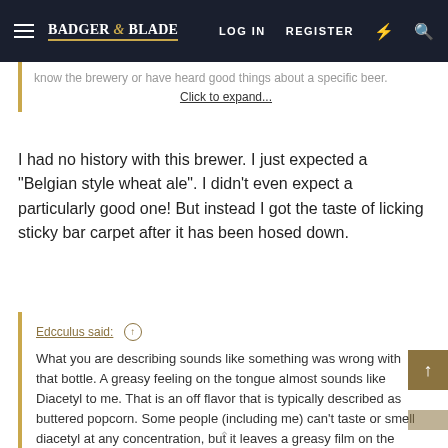Badger & Blade — LOG IN  REGISTER
know the brewery or have heard good things about a specific beer. Click to expand...
I had no history with this brewer. I just expected a "Belgian style wheat ale". I didn't even expect a particularly good one! But instead I got the taste of licking sticky bar carpet after it has been hosed down.
Edcculus said: ↑ What you are describing sounds like something was wrong with that bottle. A greasy feeling on the tongue almost sounds like Diacetyl to me. That is an off flavor that is typically described as buttered popcorn. Some people (including me) can't taste or smell diacetyl at any concentration, but it leaves a greasy film on the tongue. It is usually a product of fermentation, which is later